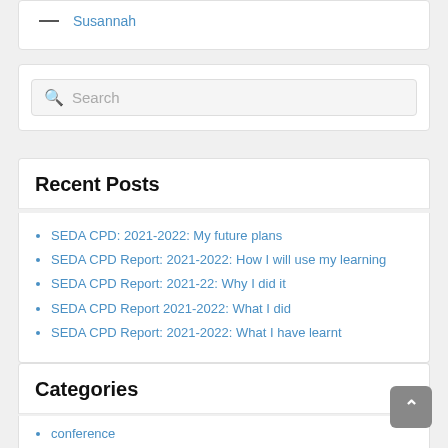— Susannah
Search
Recent Posts
SEDA CPD: 2021-2022: My future plans
SEDA CPD Report: 2021-2022: How I will use my learning
SEDA CPD Report: 2021-22: Why I did it
SEDA CPD Report 2021-2022: What I did
SEDA CPD Report: 2021-2022: What I have learnt
Categories
conference